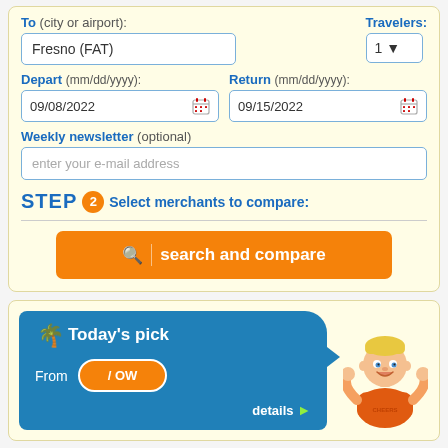To (city or airport): Fresno (FAT)
Travelers: 1
Depart (mm/dd/yyyy): 09/08/2022
Return (mm/dd/yyyy): 09/15/2022
Weekly newsletter (optional): enter your e-mail address
STEP 2 Select merchants to compare:
search and compare
[Figure (infographic): Today's pick banner with palm tree icon, 'From / OW' orange pill button, details link, and a cartoon mascot character in orange shirt with hands raised.]